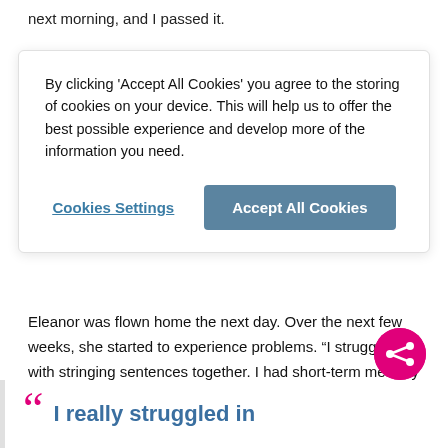next morning, and I passed it.
By clicking 'Accept All Cookies' you agree to the storing of cookies on your device. This will help us to offer the best possible experience and develop more of the information you need.
Cookies Settings
Accept All Cookies
Eleanor was flown home the next day. Over the next few weeks, she started to experience problems. “I struggled with stringing sentences together. I had short-term memory loss as well. Sometimes I would even forget that I was in the middle of a conversation!
I really struggled in